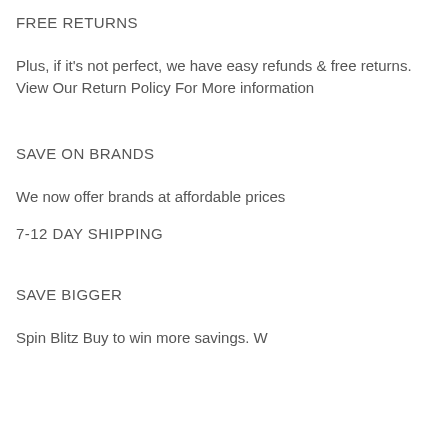FREE RETURNS
Plus, if it's not perfect, we have easy refunds & free returns. View Our Return Policy For More information
SAVE ON BRANDS
We now offer brands at affordable prices
7-12 DAY SHIPPING
SAVE BIGGER
Spin Blitz Buy to win more savings. W